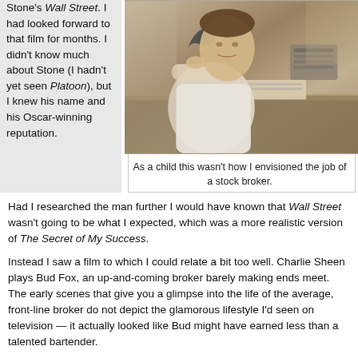Stone's Wall Street. I had looked forward to that film for months. I didn't know much about Stone (I hadn't yet seen Platoon), but I knew his name and his Oscar-winning reputation.
[Figure (photo): Black and white photo of a man in a white shirt sitting at a desk with phones and equipment, talking on the phone — a stock broker scene.]
As a child this wasn't how I envisioned the job of a stock broker.
Had I researched the man further I would have known that Wall Street wasn't going to be what I expected, which was a more realistic version of The Secret of My Success.
Instead I saw a film to which I could relate a bit too well. Charlie Sheen plays Bud Fox, an up-and-coming broker barely making ends meet. The early scenes that give you a glimpse into the life of the average, front-line broker do not depict the glamorous lifestyle I'd seen on television — it actually looked like Bud might have earned less than a talented bartender.
The high-pressure nature of the business and the cold-call sales techniques combined to make Bud hungry and bitter. Even as a kid I could relate to him, his drive to get out of the phone pool and make a name for himself.
But then he went...